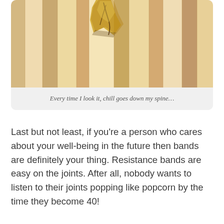[Figure (photo): Close-up photo of wooden planks or boards with alternating light and darker wood grain stripes, with a split or crack in one of the boards visible near the top center.]
Every time I look it, chill goes down my spine…
Last but not least, if you're a person who cares about your well-being in the future then bands are definitely your thing. Resistance bands are easy on the joints. After all, nobody wants to listen to their joints popping like popcorn by the time they become 40!